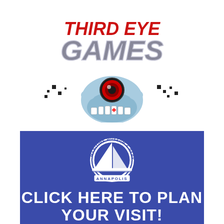[Figure (logo): Third Eye Games logo with stylized text in red and gray metallic lettering, and a cartoon monster/creature face with one large red eye in the center below the text, pixel-art style scattered debris around it]
[Figure (logo): Annapolis Maritime Museum & Park logo: a circular emblem with a white sailboat on blue background, text reading MARITIME MUSEUM & PARK around top and ANNAPOLIS across the bottom, on a dark blue banner background with text CLICK HERE TO PLAN YOUR VISIT! in large white bold letters]